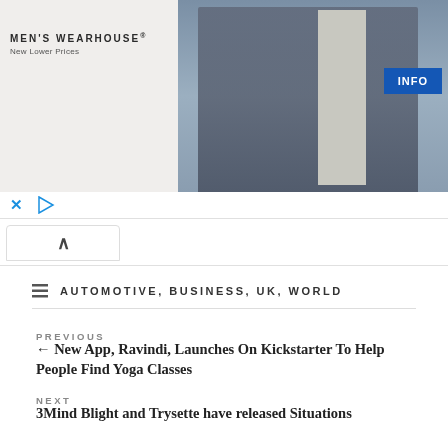[Figure (photo): Men's Wearhouse advertisement banner showing a couple dressed formally and a man in a suit, with an INFO button]
AUTOMOTIVE, BUSINESS, UK, WORLD
PREVIOUS
← New App, Ravindi, Launches On Kickstarter To Help People Find Yoga Classes
NEXT
3Mind Blight and Trysette have released Situations